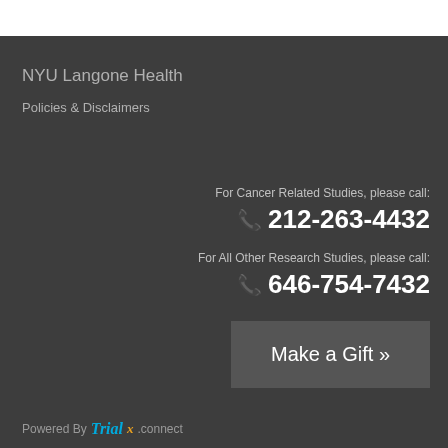NYU Langone Health
Policies & Disclaimers
For Cancer Related Studies, please call:
212-263-4432
For All Other Research Studies, please call:
646-754-7432
Make a Gift »
Powered By Trial x connect